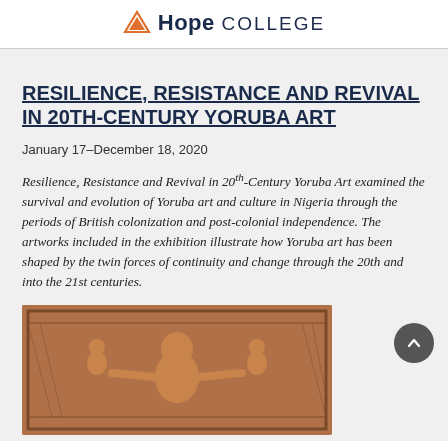Hope College
RESILIENCE, RESISTANCE AND REVIVAL IN 20TH-CENTURY YORUBA ART
January 17–December 18, 2020
Resilience, Resistance and Revival in 20th-Century Yoruba Art examined the survival and evolution of Yoruba art and culture in Nigeria through the periods of British colonization and post-colonial independence. The artworks included in the exhibition illustrate how Yoruba art has been shaped by the twin forces of continuity and change through the 20th and into the 21st centuries.
[Figure (photo): Carved wooden relief depicting a central figure with outstretched arms flanked by figures, with detailed geometric border patterns – Yoruba art]